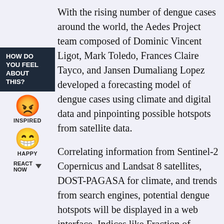[Figure (infographic): Left sidebar with 'HOW DO YOU FEEL ABOUT THIS?' box in dark navy, an orange inspired emoji face, label INSPIRED, a yellow happy emoji face, label HAPPY, and REACT NOW with a downward arrow.]
With the rising number of dengue cases around the world, the Aedes Project team composed of Dominic Vincent Ligot, Mark Toledo, Frances Claire Tayco, and Jansen Dumaliang Lopez developed a forecasting model of dengue cases using climate and digital data and pinpointing possible hotspots from satellite data.
Correlating information from Sentinel-2 Copernicus and Landsat 8 satellites, DOST-PAGASA for climate, and trends from search engines, potential dengue hotspots will be displayed in a web interface. Indices like Fraction of Absorbed Photosynthetically Active Radiation (FAPAR) and Normalized Difference Vegetation Index (NDVI) are used in identifying areas with green vegetation while Normalized Difference Water Index (NDWI) to identify areas